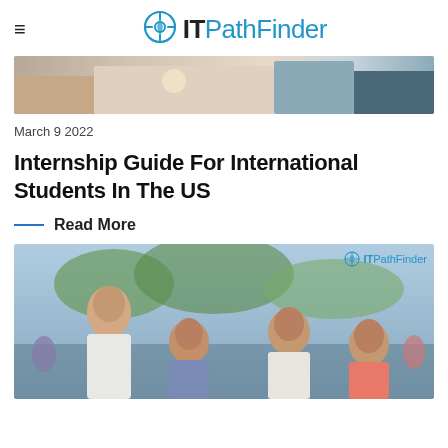IT PathFinder
[Figure (photo): Top banner image showing a student studying at a desk with books and a coffee cup]
March 9 2022
Internship Guide For International Students In The US
Read More
[Figure (photo): Group of international students laughing and talking outdoors on a university campus, with ITPathFinder watermark in top right corner]